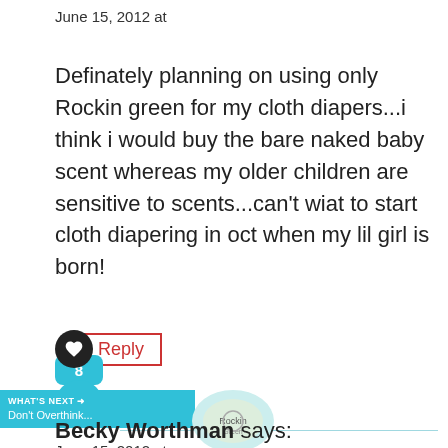June 15, 2012 at
Definately planning on using only Rockin green for my cloth diapers...i think i would buy the bare naked baby scent whereas my older children are sensitive to scents...can’t wiat to start cloth diapering in oct when my lil girl is born!
[Figure (screenshot): Reply button with heart icon, share count of 8, share button, and What's Next promotional banner for 'Don't Overthink...']
Becky Worthman says:
June 15, 2012 at